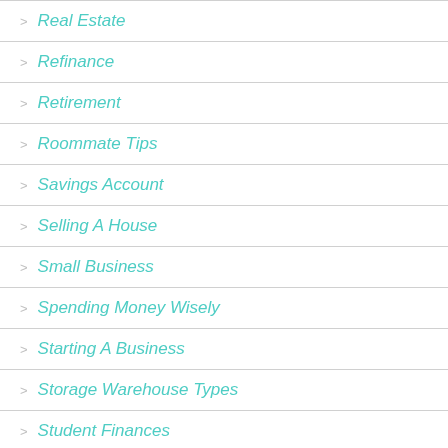Real Estate
Refinance
Retirement
Roommate Tips
Savings Account
Selling A House
Small Business
Spending Money Wisely
Starting A Business
Storage Warehouse Types
Student Finances
Student Loans
Taxes
Temporary Tent Structures